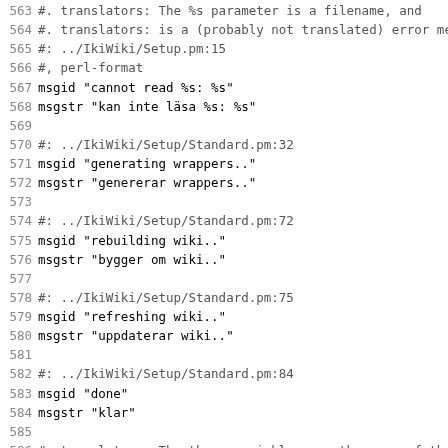Code/PO file content showing gettext translation entries for IkiWiki, lines 563-595
563 #. translators: The %s parameter is a filename, and...
564 #. translators: is a (probably not translated) error me
565 #: ../IkiWiki/Setup.pm:15
566 #, perl-format
567 msgid "cannot read %s: %s"
568 msgstr "kan inte läsa %s: %s"
569
570 #: ../IkiWiki/Setup/Standard.pm:32
571 msgid "generating wrappers.."
572 msgstr "genererar wrappers.."
573
574 #: ../IkiWiki/Setup/Standard.pm:72
575 msgid "rebuilding wiki.."
576 msgstr "bygger om wiki.."
577
578 #: ../IkiWiki/Setup/Standard.pm:75
579 msgid "refreshing wiki.."
580 msgstr "uppdaterar wiki.."
581
582 #: ../IkiWiki/Setup/Standard.pm:84
583 msgid "done"
584 msgstr "klar"
585
586 #. translators: The three variables are the name of the
587 #. translators: A list of one or more pages that were c
588 #. translators: And the name of the user making the cha
589 #. translators: This is used as the subject of a commit
590 #: ../IkiWiki/UserInfo.pm:145
591 #, perl-format
592 msgid "update of %s's %s by %s"
593 msgstr "uppdatering av %s, %s av %s"
594
595 #: ../IkiWiki/Wrapper.pm:16